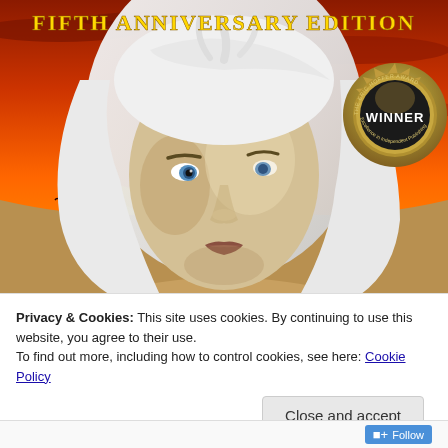[Figure (illustration): Book cover illustration: Fantasy/fiction book cover showing a pale young man with long white hair and blue eyes against a dramatic orange-red sunset sky. Text at top reads 'FIFTH ANNIVERSARY EDITION' in golden letters. A metallic seal/badge in the upper right reads 'THE ERIC HOFFER AWARD WINNER Excellence in Independent Publishing'.]
Privacy & Cookies: This site uses cookies. By continuing to use this website, you agree to their use.
To find out more, including how to control cookies, see here: Cookie Policy
Close and accept
Follow